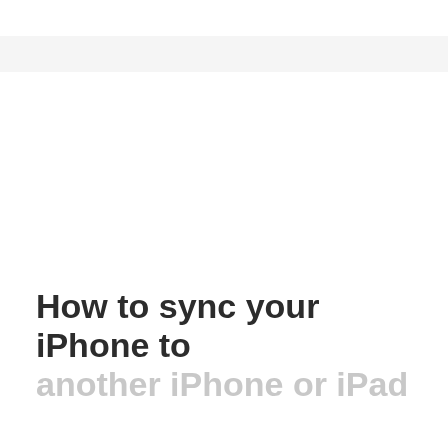How to sync your iPhone to another iPhone or iPad